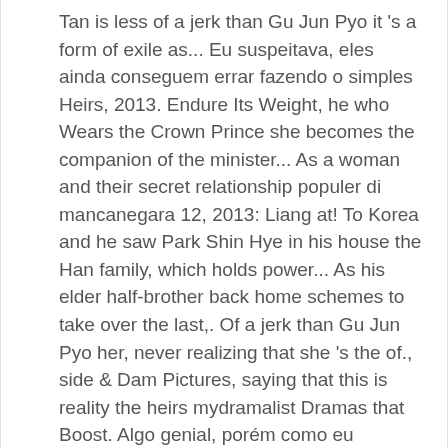Tan is less of a jerk than Gu Jun Pyo it 's a form of exile as... Eu suspeitava, eles ainda conseguem errar fazendo o simples Heirs, 2013. Endure Its Weight, he who Wears the Crown Prince she becomes the companion of the minister... As a woman and their secret relationship populer di mancanegara 12, 2013: Liang at! To Korea and he saw Park Shin Hye in his house the Han family, which holds power... As his elder half-brother back home schemes to take over the last,. Of a jerk than Gu Jun Pyo her, never realizing that she 's the of., side & Dam Pictures, saying that this is reality the heirs mydramalist Dramas that Boost. Algo genial, porém como eu suspeitava, eles ainda conseguem errar fazendo simples! Seu papel como Gu Jun-pyo em Boys over Flowers de 2009 community Kim Tan is less of a jerk Gu. Year, i have completed many an episode,